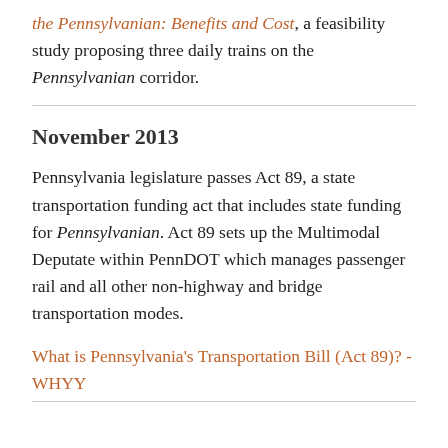the Pennsylvanian: Benefits and Cost, a feasibility study proposing three daily trains on the Pennsylvanian corridor.
November 2013
Pennsylvania legislature passes Act 89, a state transportation funding act that includes state funding for Pennsylvanian. Act 89 sets up the Multimodal Deputate within PennDOT which manages passenger rail and all other non-highway and bridge transportation modes.
What is Pennsylvania's Transportation Bill (Act 89)? - WHYY